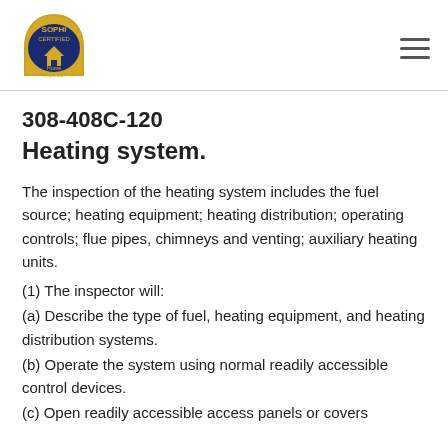SOPHI CERTIFIED Home Inspector logo and navigation menu
308-408C-120
Heating system.
The inspection of the heating system includes the fuel source; heating equipment; heating distribution; operating controls; flue pipes, chimneys and venting; auxiliary heating units.
(1) The inspector will:
(a) Describe the type of fuel, heating equipment, and heating distribution systems.
(b) Operate the system using normal readily accessible control devices.
(c) Open readily accessible access panels or covers